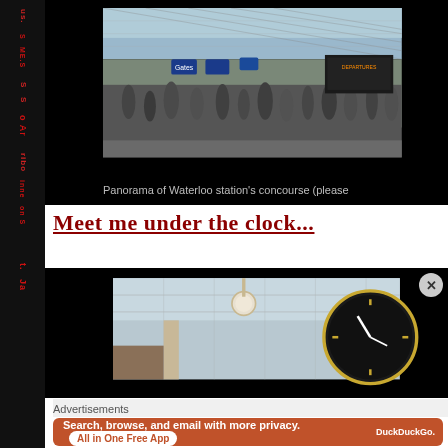[Figure (photo): Panorama of Waterloo station's concourse showing crowds of people inside a large Victorian rail terminal with arched glass roof and blue information signs]
Panorama of Waterloo station's concourse (please
Meet me under the clock...
[Figure (photo): Interior photo of Waterloo station roof structure with a large ornate clock visible on the right side]
Advertisements
[Figure (screenshot): DuckDuckGo advertisement banner: Search, browse, and email with more privacy. All in One Free App. Shows phone with DuckDuckGo logo.]